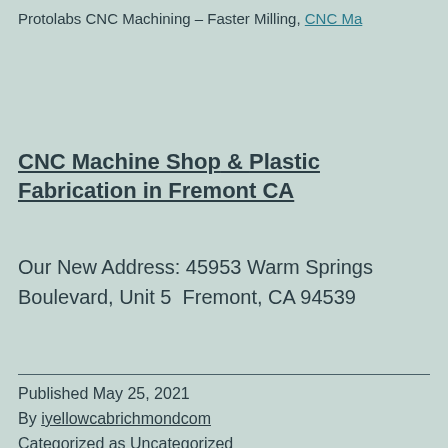Protolabs CNC Machining – Faster Milling, CNC Ma
CNC Machine Shop & Plastic Fabrication in Fremont CA
Our New Address: 45953 Warm Springs Boulevard, Unit 5  Fremont, CA 94539
Published May 25, 2021
By iyellowcabrichmondcom
Categorized as Uncategorized